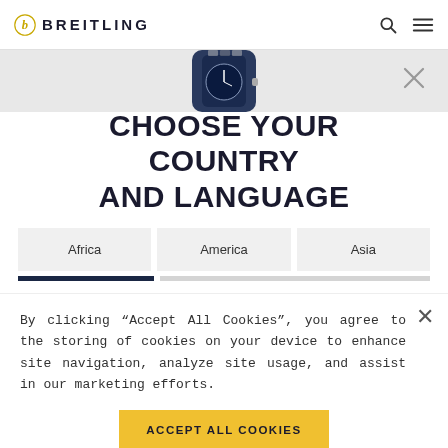BREITLING
[Figure (photo): Partial view of a Breitling watch dial, cropped at top]
CHOOSE YOUR COUNTRY AND LANGUAGE
Africa   America   Asia
By clicking "Accept All Cookies", you agree to the storing of cookies on your device to enhance site navigation, analyze site usage, and assist in our marketing efforts.
ACCEPT ALL COOKIES